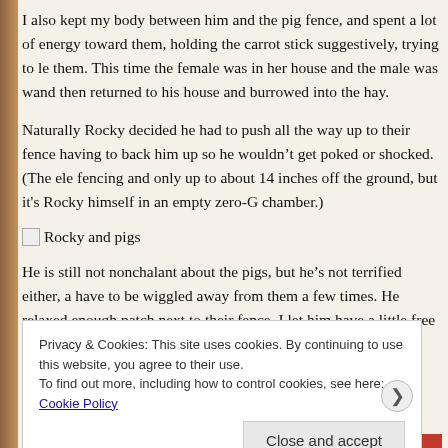I also kept my body between him and the pig fence, and spent a lot of energy toward them, holding the carrot stick suggestively, trying to lure them. This time the female was in her house and the male was wand... then returned to his house and burrowed into the hay.
Naturally Rocky decided he had to push all the way up to their fence, having to back him up so he wouldn’t get poked or shocked. (The ele... fencing and only up to about 14 inches off the ground, but it’s Rocky himself in an empty zero-G chamber.)
[Figure (photo): Broken image placeholder with alt text 'Rocky and pigs']
He is still not nonchalant about the pigs, but he’s not terrified either, a... have to be wiggled away from them a few times. He relaxed enough patch next to their fence. I let him have a little free time and then took...
Privacy & Cookies: This site uses cookies. By continuing to use this website, you agree to their use.
To find out more, including how to control cookies, see here: Cookie Policy
Close and accept